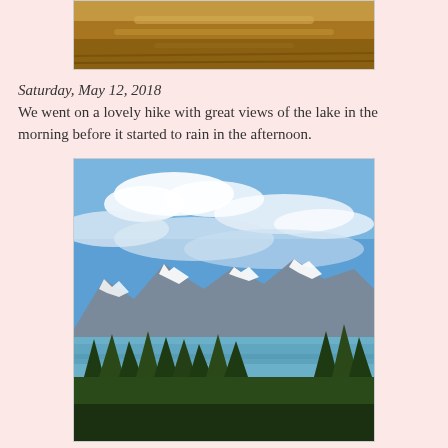[Figure (photo): Partial photo of a sandy/earthy landscape with warm golden-brown tones, cropped at top]
Saturday, May 12, 2018
We went on a lovely hike with great views of the lake in the morning before it started to rain in the afternoon.
[Figure (photo): Scenic landscape photo showing a mountain lake (Lake Tahoe) with snow-capped mountains in the background, blue sky with white clouds, and pine trees in the foreground]